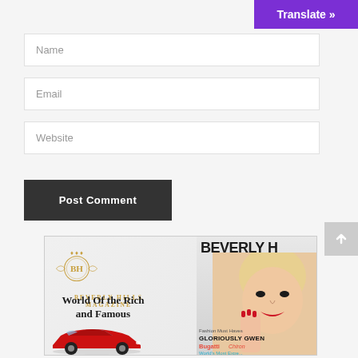[Figure (screenshot): Purple Translate button in top right corner]
Name
Email
Website
Post Comment
[Figure (illustration): Beverly Hills Magazine advertisement showing BH logo, tagline 'World Of the Rich and Famous', red sports car, and magazine cover with blonde woman and headlines including GLORIOUSLY GWEN, Bugatti Chiron, World's Most Expensive B...]